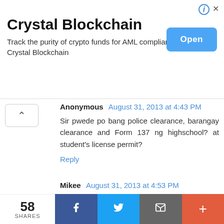[Figure (screenshot): Advertisement banner for Crystal Blockchain with Open button]
Anonymous August 31, 2013 at 4:43 PM
Sir pwede po bang police clearance, barangay clearance and Form 137 ng highschool? at student's license permit?
Reply
Mikee August 31, 2013 at 4:53 PM
Hello po. Sure po ba na kahit supporting documents lang ang dalhin ay makakakuha na ng passport? wala po ako kahit isang valid ID. kasi ang nakalagay po sa website ng dfa ay Valid Id's AND supporting documents. So gusto ko lang po makasiguro na kait supporting docs lang pwede na. May nakapag-try na po ba? sa DFA aseana po ako
58 SHARES